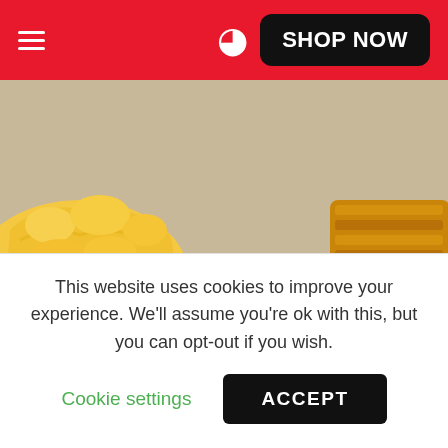≡  SHOP NOW
[Figure (photo): Close-up photo of chicken fried steak covered in white pepper gravy, with scrambled eggs visible on the left and hash browns on the right]
Places to Eat
This website uses cookies to improve your experience. We'll assume you're ok with this, but you can opt-out if you wish.
Cookie settings   ACCEPT